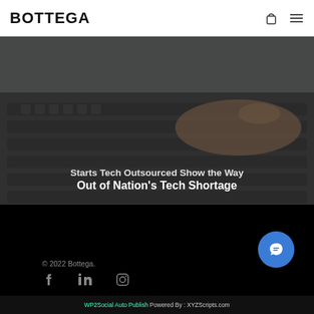BOTTEGA
[Figure (photo): Person typing on a laptop keyboard, viewed from above and to the side. Dark overlay with article headline text overlaid.]
Starts Tech Outsourced Show the Way Out of Nation's Tech Shortage
© 2022 Bottega.
WP2Social Auto Publish Powered By : XYZScripts.com